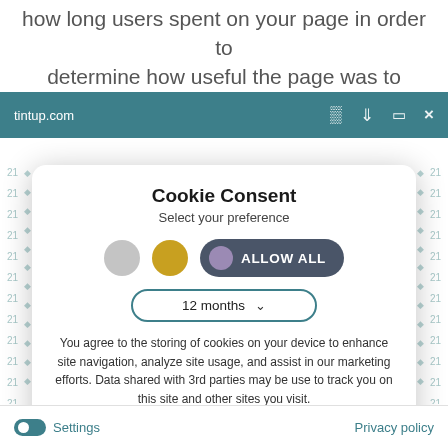how long users spent on your page in order to determine how useful the page was to them, so
[Figure (screenshot): Browser toolbar showing tintup.com URL with navigation icons (expand, download, print, close) on teal background]
Cookie Consent
Select your preference
[Figure (infographic): Three toggle/circle icons: gray circle, gold circle, and teal toggle with purple knob showing ALLOW ALL button]
[Figure (infographic): Dropdown selector showing '12 months' with chevron arrow, styled with teal border]
You agree to the storing of cookies on your device to enhance site navigation, analyze site usage, and assist in our marketing efforts. Data shared with 3rd parties may be use to track you on this site and other sites you visit.
[Figure (infographic): Save my preferences button in teal with rounded corners]
Settings
Privacy policy